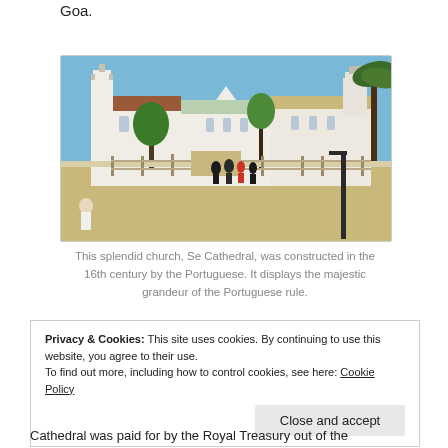Goa.
[Figure (photo): Photograph of Se Cathedral in Goa, a large white Portuguese colonial church with towers, trees in foreground, people walking through gates on a sunny day.]
This splendid church, Se Cathedral, was constructed in the 16th century by the Portuguese. It displays the majestic grandeur of the Portuguese rule.
Privacy & Cookies: This site uses cookies. By continuing to use this website, you agree to their use.
To find out more, including how to control cookies, see here: Cookie Policy
Close and accept
Cathedral was paid for by the Royal Treasury out of the